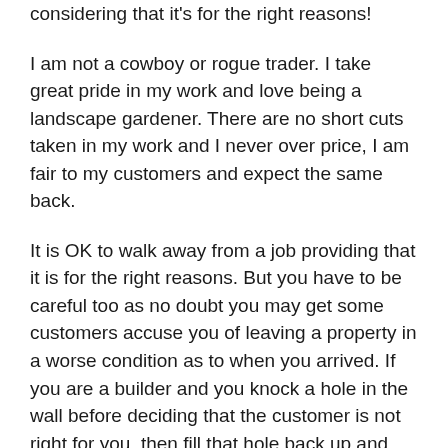considering that it's for the right reasons!
I am not a cowboy or rogue trader. I take great pride in my work and love being a landscape gardener. There are no short cuts taken in my work and I never over price, I am fair to my customers and expect the same back.
It is OK to walk away from a job providing that it is for the right reasons. But you have to be careful too as no doubt you may get some customers accuse you of leaving a property in a worse condition as to when you arrived. If you are a builder and you knock a hole in the wall before deciding that the customer is not right for you, then fill that hole back up and leave it in the condition that you found it before walking away. In my